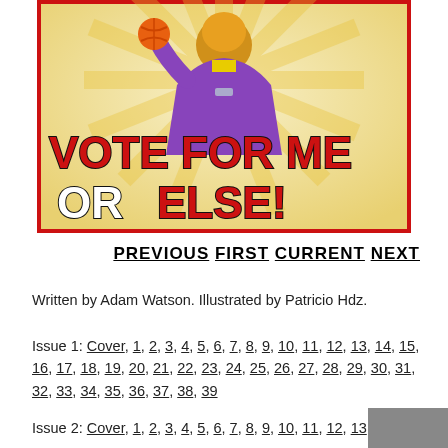[Figure (illustration): Comic book cover illustration showing a cartoon character in purple robes holding something orange, with sunburst background. Text reads 'VOTE FOR ME OR ELSE!' in large red and white letters on a cream/tan background with red border.]
PREVIOUS FIRST CURRENT NEXT
Written by Adam Watson. Illustrated by Patricio Hdz.
Issue 1: Cover, 1, 2, 3, 4, 5, 6, 7, 8, 9, 10, 11, 12, 13, 14, 15, 16, 17, 18, 19, 20, 21, 22, 23, 24, 25, 26, 27, 28, 29, 30, 31, 32, 33, 34, 35, 36, 37, 38, 39
Issue 2: Cover, 1, 2, 3, 4, 5, 6, 7, 8, 9, 10, 11, 12, 13